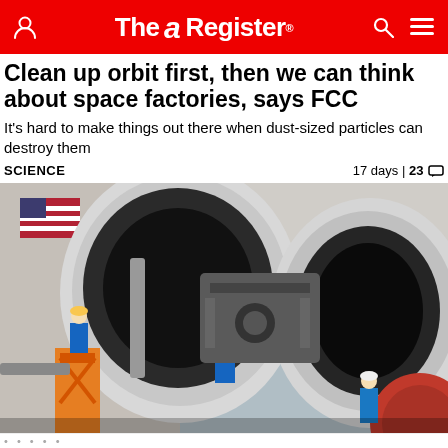The Register
Clean up orbit first, then we can think about space factories, says FCC
It's hard to make things out there when dust-sized particles can destroy them
SCIENCE   17 days | 23
[Figure (photo): Workers in blue coveralls working on large rocket engine nozzles in a factory or assembly facility. An American flag is visible in the background on the left. An orange/red scissor lift is visible on the left side. The image shows multiple large cylindrical rocket engine nozzles.]